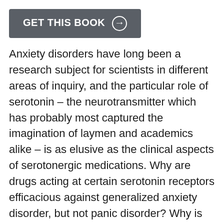[Figure (other): Dark grey button with text 'GET THIS BOOK' and a circled arrow icon]
Anxiety disorders have long been a research subject for scientists in different areas of inquiry, and the particular role of serotonin – the neurotransmitter which has probably most captured the imagination of laymen and academics alike – is as elusive as the clinical aspects of serotonergic medications. Why are drugs acting at certain serotonin receptors efficacious against generalized anxiety disorder, but not panic disorder? Why is the inverse true for monoamine oxidase inhibitors? These clinically relevant issues are clarified by the neurochemical,